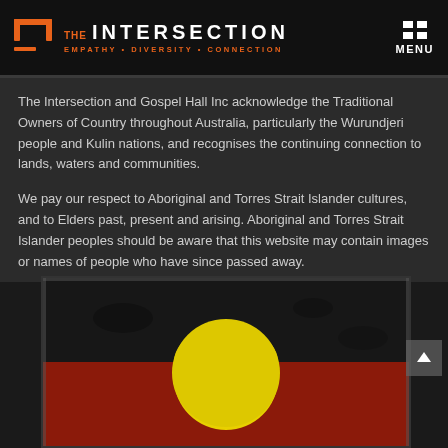THE INTERSECTION EMPATHY • DIVERSITY • CONNECTION
The Intersection and Gospel Hall Inc acknowledge the Traditional Owners of Country throughout Australia, particularly the Wurundjeri people and Kulin nations, and recognises the continuing connection to lands, waters and communities.
We pay our respect to Aboriginal and Torres Strait Islander cultures, and to Elders past, present and arising. Aboriginal and Torres Strait Islander peoples should be aware that this website may contain images or names of people who have since passed away.
[Figure (photo): Aboriginal flag painted artwork showing black top half, red bottom half, and yellow circle in the centre]